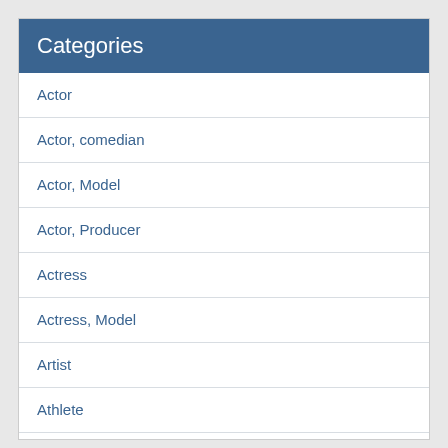Categories
Actor
Actor, comedian
Actor, Model
Actor, Producer
Actress
Actress, Model
Artist
Athlete
Author
basketball player
Blogger
Boxing Trainer
celebrity